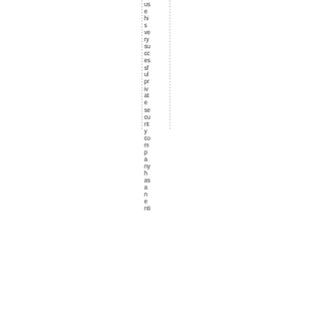use his very successful private security company has an enti